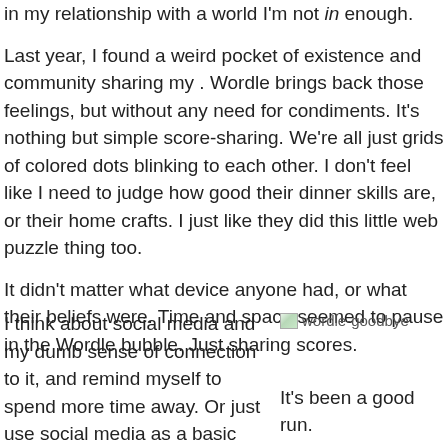in my relationship with a world I'm not in enough.
Last year, I found a weird pocket of existence and community sharing my . Wordle brings back those feelings, but without any need for condiments. It's nothing but simple score-sharing. We're all just grids of colored dots blinking to each other. I don't feel like I need to judge how good their dinner skills are, or their home crafts. I just like they did this little web puzzle thing too.
It didn't matter what device anyone had, or what their beliefs were. Time and space seemed to pause in the Wordle bubble. Just sharing scores.
I think about social media and my dumb sense of connection to it, and remind myself to spend more time away. Or just use social media as a basic tool.
[Figure (illustration): Image placeholder showing 'wordle-goodbye' label with small green-tinted image icon]
It's been a good run.